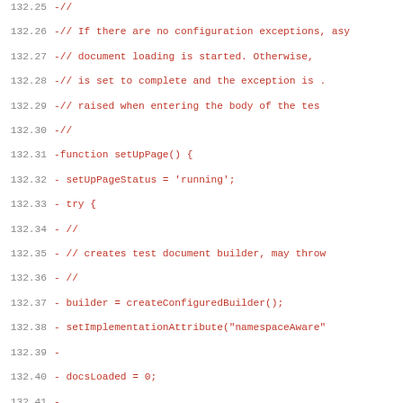[Figure (screenshot): Code diff snippet showing lines 132.25 through 132.56 of a JavaScript file, displayed in red monospace font on white background, with line numbers on the left.]